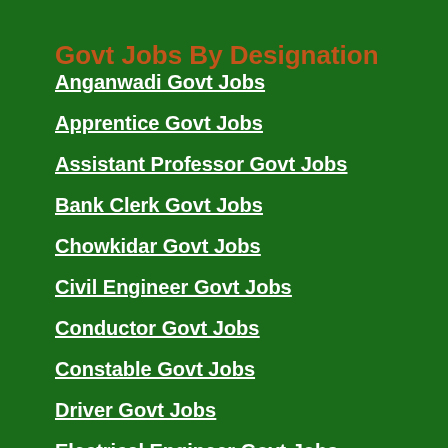Govt Jobs By Designation
Anganwadi Govt Jobs
Apprentice Govt Jobs
Assistant Professor Govt Jobs
Bank Clerk Govt Jobs
Chowkidar Govt Jobs
Civil Engineer Govt Jobs
Conductor Govt Jobs
Constable Govt Jobs
Driver Govt Jobs
Electrical Engineer Govt Jobs
Faculty Govt Jobs